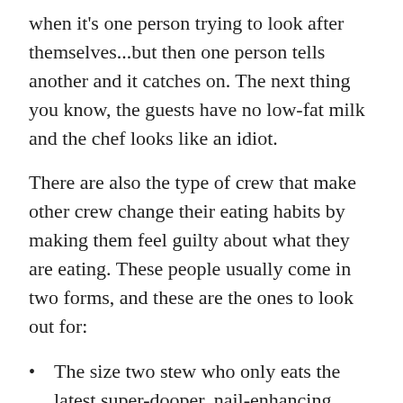when it's one person trying to look after themselves...but then one person tells another and it catches on. The next thing you know, the guests have no low-fat milk and the chef looks like an idiot.
There are also the type of crew that make other crew change their eating habits by making them feel guilty about what they are eating. These people usually come in two forms, and these are the ones to look out for:
The size two stew who only eats the latest super-dooper, nail-enhancing, shiny hair foods...she simply cannot stop talking about these foods (I presume because she is so hungry) and she will also kind of bully the other girls into